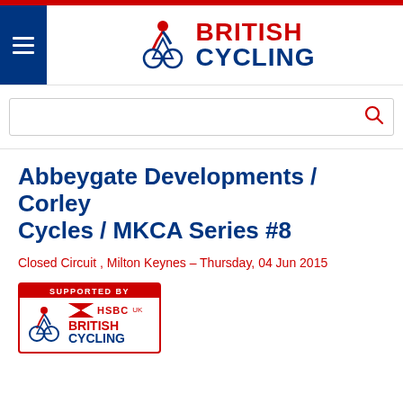[Figure (logo): British Cycling logo with cyclist figure and red BRITISH / dark blue CYCLING text]
Abbeygate Developments / Corley Cycles / MKCA Series #8
Closed Circuit , Milton Keynes – Thursday, 04 Jun 2015
[Figure (logo): Supported By HSBC UK British Cycling badge with red border]